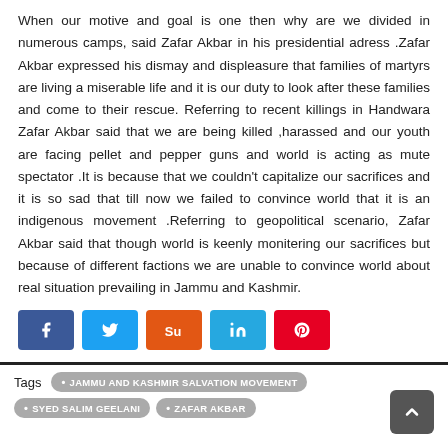When our motive and goal is one then why are we divided in numerous camps, said Zafar Akbar in his presidential adress .Zafar Akbar expressed his dismay and displeasure that families of martyrs are living a miserable life and it is our duty to look after these families and come to their rescue. Referring to recent killings in Handwara Zafar Akbar said that we are being killed ,harassed and our youth are facing pellet and pepper guns and world is acting as mute spectator .It is because that we couldn't capitalize our sacrifices and it is so sad that till now we failed to convince world that it is an indigenous movement .Referring to geopolitical scenario, Zafar Akbar said that though world is keenly monitering our sacrifices but because of different factions we are unable to convince world about real situation prevailing in Jammu and Kashmir.
[Figure (infographic): Social sharing buttons: Facebook (blue), Twitter (light blue), StumbleUpon (orange-red), LinkedIn (cyan), Pinterest (red)]
Tags  • JAMMU AND KASHMIR SALVATION MOVEMENT  • SYED SALIM GEELANI  • ZAFAR AKBAR